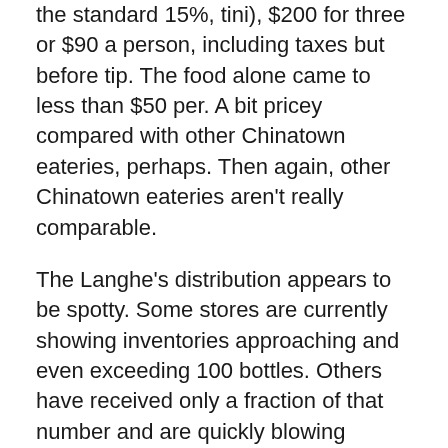the standard 15%, tini), $200 for three or $90 a person, including taxes but before tip. The food alone came to less than $50 per. A bit pricey compared with other Chinatown eateries, perhaps. Then again, other Chinatown eateries aren't really comparable.
The Langhe's distribution appears to be spotty. Some stores are currently showing inventories approaching and even exceeding 100 bottles. Others have received only a fraction of that number and are quickly blowing through their stock. A second shipment is slated to arrive in a month or so. Still, to be on the safe side, you should act fast. You simply will not find a more beguling Old World red at the regular price. And if you reserve your bottles now and pick them up on Valentine's Day weekend, you'll get 10% off (if part of a total purchase of $100 or more), which has to make this the QPR winner of the year.